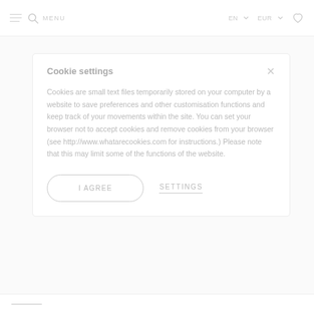MENU  EN ▼  EUR ▼  ♡
Cookie settings
Cookies are small text files temporarily stored on your computer by a website to save preferences and other customisation functions and keep track of your movements within the site. You can set your browser not to accept cookies and remove cookies from your browser (see http://www.whatarecookies.com for instructions.) Please note that this may limit some of the functions of the website.
I AGREE
SETTINGS